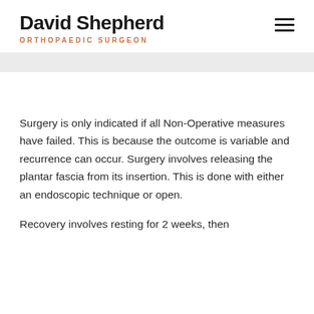David Shepherd
ORTHOPAEDIC SURGEON
Surgery is only indicated if all Non-Operative measures have failed. This is because the outcome is variable and recurrence can occur. Surgery involves releasing the plantar fascia from its insertion. This is done with either an endoscopic technique or open.
Recovery involves resting for 2 weeks, then